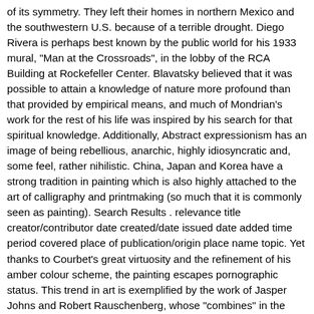of its symmetry. They left their homes in northern Mexico and the southwestern U.S. because of a terrible drought. Diego Rivera is perhaps best known by the public world for his 1933 mural, "Man at the Crossroads", in the lobby of the RCA Building at Rockefeller Center. Blavatsky believed that it was possible to attain a knowledge of nature more profound than that provided by empirical means, and much of Mondrian's work for the rest of his life was inspired by his search for that spiritual knowledge. Additionally, Abstract expressionism has an image of being rebellious, anarchic, highly idiosyncratic and, some feel, rather nihilistic. China, Japan and Korea have a strong tradition in painting which is also highly attached to the art of calligraphy and printmaking (so much that it is commonly seen as painting). Search Results . relevance title creator/contributor date created/date issued date added time period covered place of publication/origin place name topic. Yet thanks to Courbet's great virtuosity and the refinement of his amber colour scheme, the painting escapes pornographic status. This trend in art is exemplified by the work of Jasper Johns and Robert Rauschenberg, whose "combines" in the 1950s were forerunners of Pop Art and Installation art, and made use of the assemblage of large physical objects, including stuffed animals, birds and commercial photography. While throughout the 20th century many painters continued to practice landscape and figurative painting with contemporary subjects and solid technique, like Milton Avery, John D. Graham, Fairfield Porter, Edward Hopper, Balthus, Francis Bacon, Nicolas...